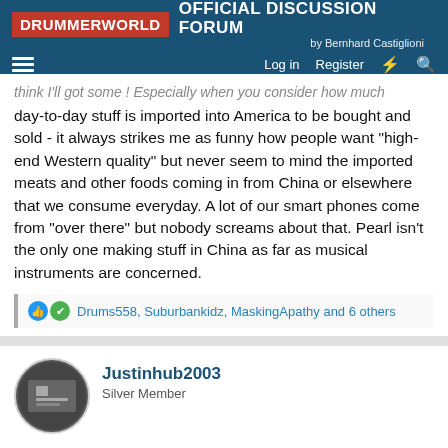DRUMMERWORLD OFFICIAL DISCUSSION FORUM by Bernhard Castiglioni
think I'll got some ! Especially when you consider how much day-to-day stuff is imported into America to be bought and sold - it always strikes me as funny how people want "high-end Western quality" but never seem to mind the imported meats and other foods coming in from China or elsewhere that we consume everyday. A lot of our smart phones come from "over there" but nobody screams about that. Pearl isn't the only one making stuff in China as far as musical instruments are concerned.
Drums558, Suburbankidz, MaskingApathy and 6 others
Justinhub2003
Silver Member
Nov 19, 2021  #13